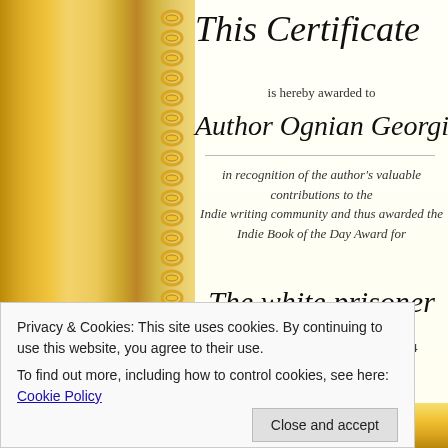This Certificate
is hereby awarded to
Author Ognian Georgiev
in recognition of the author's valuable contributions to the Indie writing community and thus awarded the Indie Book of the Day Award for
The white prisoner
Awarded on 19th of December, 2014
Privacy & Cookies: This site uses cookies. By continuing to use this website, you agree to their use.
To find out more, including how to control cookies, see here: Cookie Policy
Close and accept